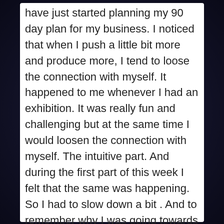have just started planning my 90 day plan for my business. I noticed that when I push a little bit more and produce more, I tend to loose the connection with myself. It happened to me whenever I had an exhibition. It was really fun and challenging but at the same time I would loosen the connection with myself. The intuitive part. And during the first part of this week I felt that the same was happening. So I had to slow down a bit . And to remember why I was going towards my goal. Why I want to be a full time artist. And the answer is that I